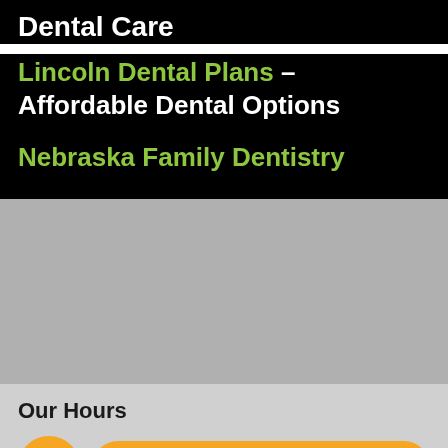Dental Care
Lincoln Dental Plans – Affordable Dental Options
Nebraska Family Dentistry
Our Hours
Online Scheduling / Payment
Monday: 8am - 5pm
Tuesday: 8am - 5pm